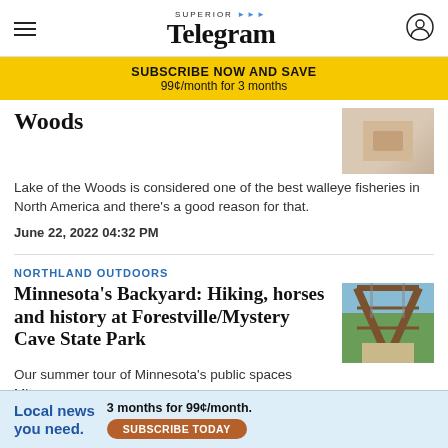Superior Telegram
SUBSCRIBE NOW AND SAVE
99¢/month for 3 months
Woods
Lake of the Woods is considered one of the best walleye fisheries in North America and there's a good reason for that.
June 22, 2022 04:32 PM
NORTHLAND OUTDOORS
Minnesota's Backyard: Hiking, horses and history at Forestville/Mystery Cave State Park
Our summer tour of Minnesota's public spaces Minnesota onto th
Local news you need.
3 months for 99¢/month.
SUBSCRIBE TODAY